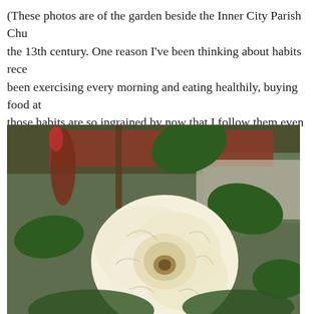(These photos are of the garden beside the Inner City Parish Chu the 13th century. One reason I've been thinking about habits rece been exercising every morning and eating healthily, buying food at those habits are so ingrained by now that I follow them even wher the Atlantic ocean. And thank goodness for them, because they k
[Figure (photo): Close-up photograph of a large white/cream rose in full bloom, with green leaves visible behind it and a reddish-brown stem. Background shows a brick wall and stone pavement.]